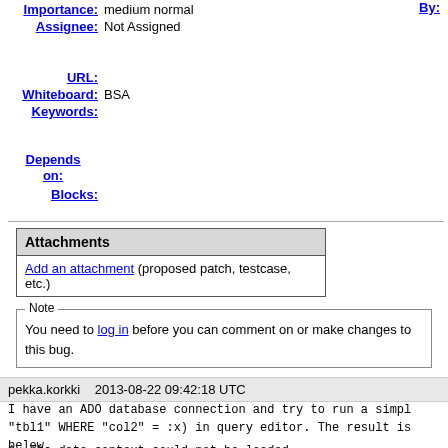Importance: medium normal
By:
Assignee: Not Assigned
URL:
Whiteboard: BSA
Keywords:
Depends on:
Blocks:
| Attachments |
| --- |
| Add an attachment (proposed patch, testcase, etc.) |
Note
You need to log in before you can comment on or make changes to this bug.
pekka.korkki    2013-08-22 09:42:18 UTC
I have an ADO database connection and try to run a simpl "tbl1" WHERE "col2" = :x) in query editor. The result is below.
1.  The data context could not be loaded.